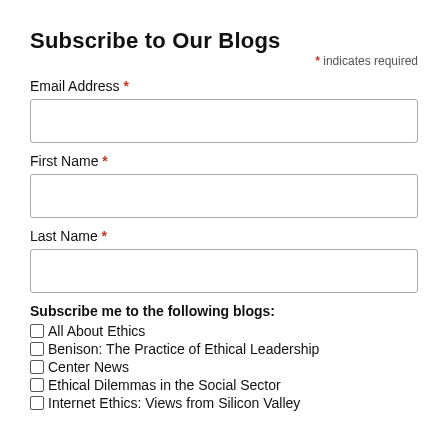Subscribe to Our Blogs
* indicates required
Email Address *
First Name *
Last Name *
Subscribe me to the following blogs:
All About Ethics
Benison: The Practice of Ethical Leadership
Center News
Ethical Dilemmas in the Social Sector
Internet Ethics: Views from Silicon Valley